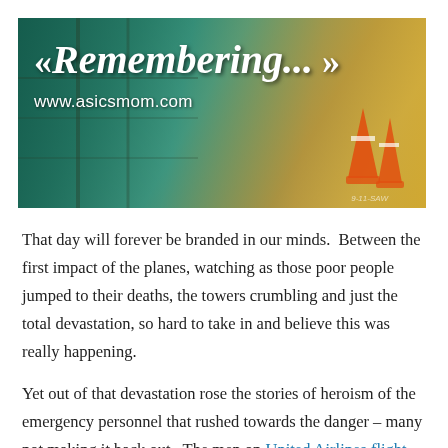[Figure (photo): Banner image with teal/green tinted background showing a construction site scene. White cursive text reads '« Remembering... »' and below it 'www.asicsmom.com'. Orange traffic cones visible on the right side.]
That day will forever be branded in our minds.  Between the first impact of the planes, watching as those poor people jumped to their deaths, the towers crumbling and just the total devastation, so hard to take in and believe this was really happening.
Yet out of that devastation rose the stories of heroism of the emergency personnel that rushed towards the danger – many not making it back out.  The men on United Airlines flight 93, that over-took the terrorists crashing the plane into a field instead of the intended target.  Then hearing the last words of  Todd Beamer,  "Are you guys